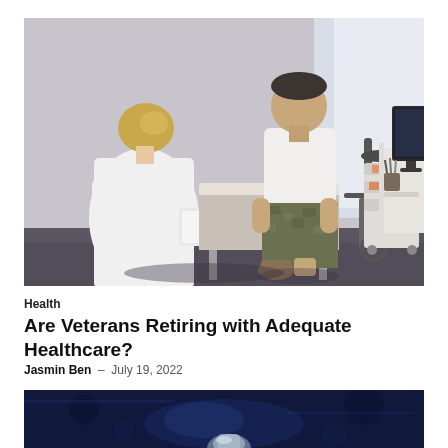[Figure (photo): A female doctor in a white coat holding a tablet/clipboard consulting with a young male military veteran in camouflage pants sitting on an examination table in a medical office. A medical cart and desk with computer monitor are visible in the background.]
Health
Are Veterans Retiring with Adequate Healthcare?
Jasmin Ben  –  July 19, 2022
[Figure (photo): Partial bottom image with dark blue background, partially visible metallic object, cut off at page bottom.]